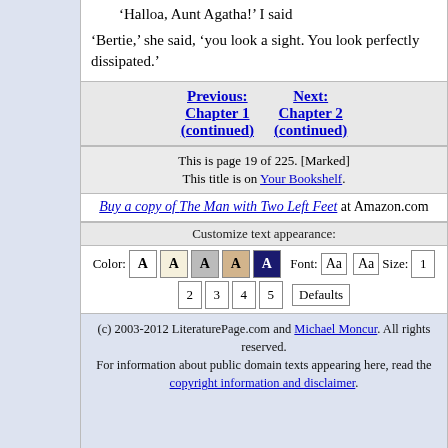'Halloa, Aunt Agatha!' I said
'Bertie,' she said, 'you look a sight. You look perfectly dissipated.'
Previous: Chapter 1 (continued)   Next: Chapter 2 (continued)
This is page 19 of 225. [Marked] This title is on Your Bookshelf.
Buy a copy of The Man with Two Left Feet at Amazon.com
Customize text appearance:
Color: A A A A A   Font: Aa   Aa   Size: 1 2 3 4 5   Defaults
(c) 2003-2012 LiteraturePage.com and Michael Moncur. All rights reserved. For information about public domain texts appearing here, read the copyright information and disclaimer.